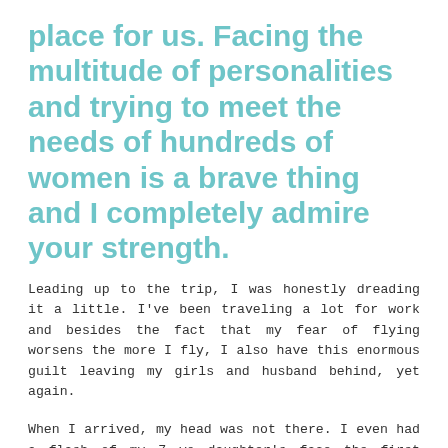place for us. Facing the multitude of personalities and trying to meet the needs of hundreds of women is a brave thing and I completely admire your strength.
Leading up to the trip, I was honestly dreading it a little. I've been traveling a lot for work and besides the fact that my fear of flying worsens the more I fly, I also have this enormous guilt leaving my girls and husband behind, yet again.
When I arrived, my head was not there. I even had a flash of my 7 yo daughter's face the first night and was missing her like never before. When you said, "This is it" that first night, I